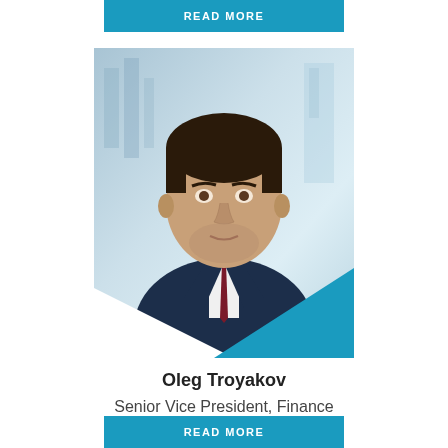[Figure (other): Teal/cyan READ MORE button at top of page]
[Figure (photo): Professional headshot of Oleg Troyakov, a man in a navy blue suit with a dark red tie, photographed against a light blue/grey office background. The photo has white and blue diagonal triangular graphic overlays at the bottom corners.]
Oleg Troyakov
Senior Vice President, Finance
[Figure (other): Teal/cyan READ MORE button at bottom of page (partially visible)]